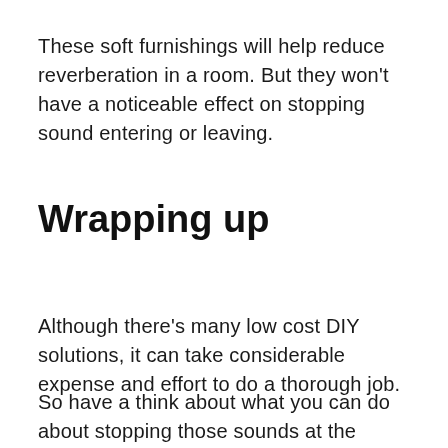These soft furnishings will help reduce reverberation in a room. But they won't have a noticeable effect on stopping sound entering or leaving.
Wrapping up
Although there's many low cost DIY solutions, it can take considerable expense and effort to do a thorough job.
So have a think about what you can do about stopping those sounds at the